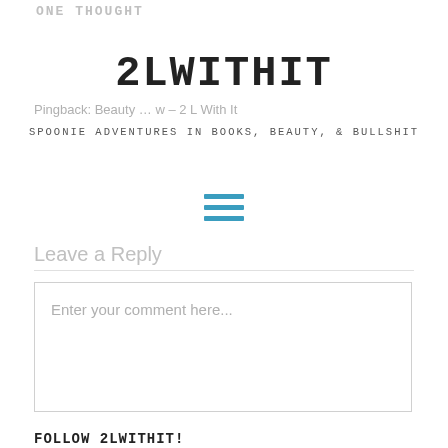ONE THOUGHT
2LWITHIT
Pingback: Beauty … w – 2 L With It
SPOONIE ADVENTURES IN BOOKS, BEAUTY, & BULLSHIT
[Figure (other): Hamburger menu icon (three horizontal lines in teal/blue)]
Leave a Reply
Enter your comment here...
FOLLOW 2LWITHIT!
Search ...